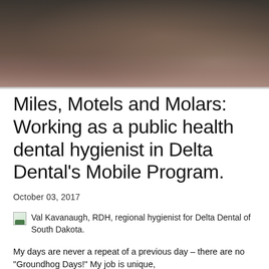[Figure (photo): A dark-toned photograph showing people, partially visible at the top of the page]
Miles, Motels and Molars: Working as a public health dental hygienist in Delta Dental's Mobile Program.
October 03, 2017
Val Kavanaugh, RDH, regional hygienist for Delta Dental of South Dakota.
My days are never a repeat of a previous day – there are no "Groundhog Days!" My job is unique,